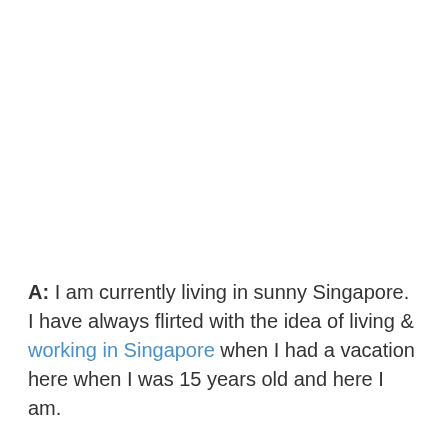A: I am currently living in sunny Singapore. I have always flirted with the idea of living & working in Singapore when I had a vacation here when I was 15 years old and here I am.